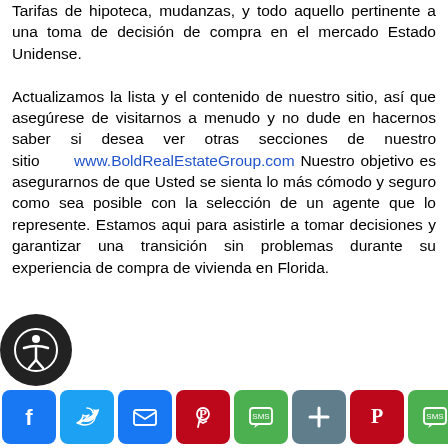Tarifas de hipoteca, mudanzas, y todo aquello pertinente a una toma de decisión de compra en el mercado Estado Unidense.

Actualizamos la lista y el contenido de nuestro sitio, así que asegúrese de visitarnos a menudo y no dude en hacernos saber si desea ver otras secciones de nuestro sitio www.BoldRealEstateGroup.com Nuestro objetivo es asegurarnos de que Usted se sienta lo más cómodo y seguro como sea posible con la selección de un agente que lo represente. Estamos aqui para asistirle a tomar decisiones y garantizar una transición sin problemas durante su experiencia de compra de vivienda en Florida.
[Figure (other): Social sharing bar with icons for Facebook, Twitter, Email, Pinterest, SMS, AddThis, Pinterest, SMS, and a Translate button]